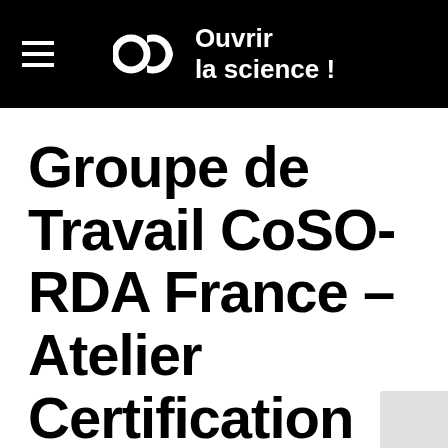Ouvrir la science !
Groupe de Travail CoSO-RDA France – Atelier Certification